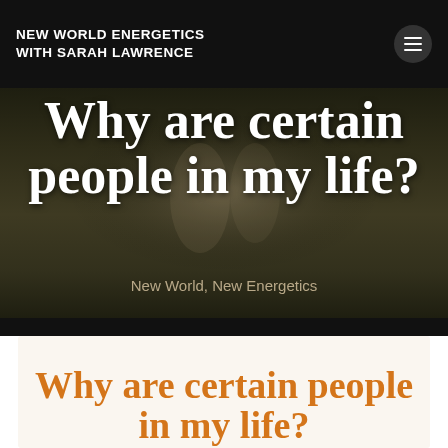NEW WORLD ENERGETICS WITH SARAH LAWRENCE
Why are certain people in my life?
New World, New Energetics
Why are certain people in my life?